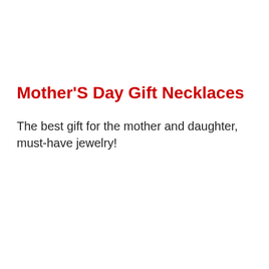Mother'S Day Gift Necklaces
The best gift for the mother and daughter, must-have jewelry!